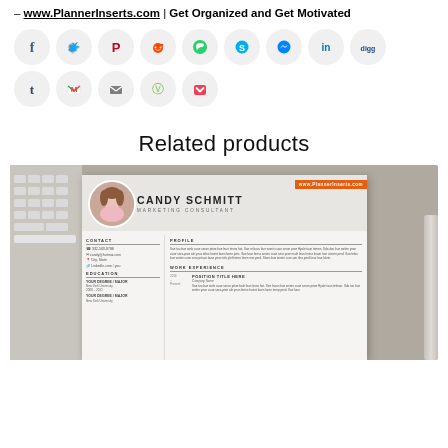– www.PlannerInserts.com | Get Organized and Get Motivated
[Figure (infographic): Social media sharing icons in circles: Facebook (blue), Twitter (blue), Pinterest (red), Reddit (orange), WhatsApp (green), Skype (blue), Messenger (blue), LinkedIn (dark blue), Digg (dark blue), Tumblr (dark blue), Gmail (red), Email (gray), Evernote (green), Pocket (red)]
Related products
[Figure (photo): Resume template preview showing 'Candy Schmitt - Marketing Consultant' on a gray desk background with keyboard and pen, with www.PlannerInserts.com orange badge]